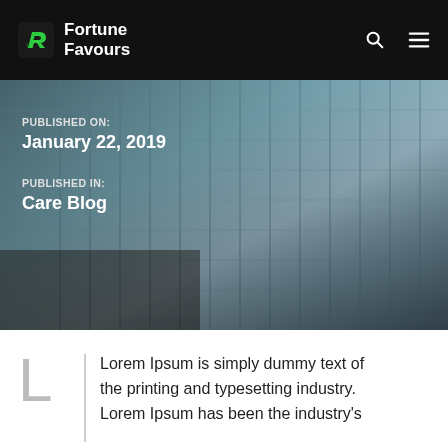Fortune Favours
[Figure (photo): Close-up photo of blue and grey cable-knit sweater fabric held by hands]
PUBLISHED ON:
January 22, 2019
PUBLISHED IN:
Care Blog
Lorem Ipsum is simply dummy text of the printing and typesetting industry. Lorem Ipsum has been the industry's